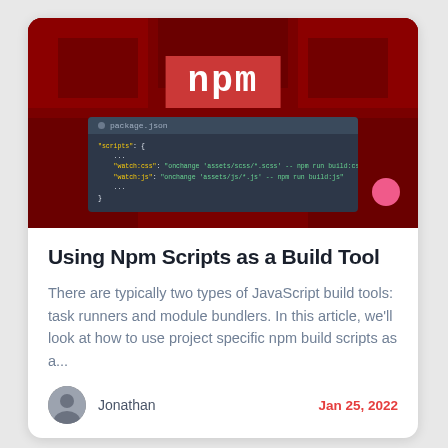[Figure (screenshot): Hero image with dark red background showing npm logo (white text on red rectangle) and a code editor window displaying package.json with scripts section containing watch:css and watch:js commands. A pink circular orb is in the bottom right.]
Using Npm Scripts as a Build Tool
There are typically two types of JavaScript build tools: task runners and module bundlers. In this article, we'll look at how to use project specific npm build scripts as a...
Jonathan
Jan 25, 2022